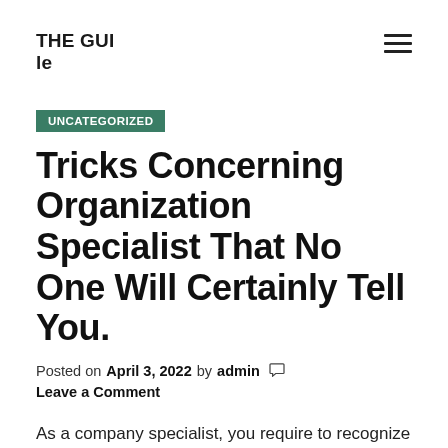THE GUI
le
UNCATEGORIZED
Tricks Concerning Organization Specialist That No One Will Certainly Tell You.
Posted on April 3, 2022 by admin  Leave a Comment
As a company specialist, you require to recognize your market. Identify your target audience as well as possible clients. You can provide seeking advice from services to large corporations, small companies, nonprofit companies, as well as people. You should have an advertising and marketing strategy as well as a service